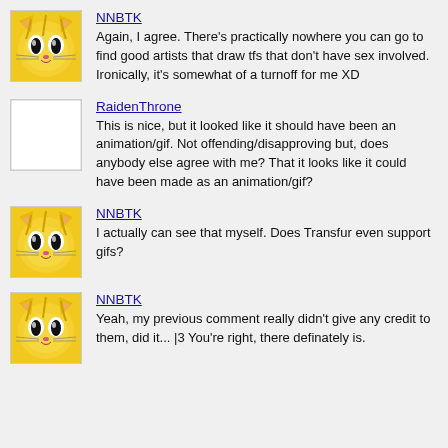[Figure (illustration): Yellow cartoon cat avatar for user NNBTK]
NNBTK
Again, I agree. There's practically nowhere you can go to find good artists that draw tfs that don't have sex involved. Ironically, it's somewhat of a turnoff for me XD
[Figure (illustration): Empty/blank white avatar placeholder for user RaidenThrone]
RaidenThrone
This is nice, but it looked like it should have been an animation/gif. Not offending/disapproving but, does anybody else agree with me? That it looks like it could have been made as an animation/gif?
[Figure (illustration): Yellow cartoon cat avatar for user NNBTK]
NNBTK
I actually can see that myself. Does Transfur even support gifs?
[Figure (illustration): Yellow cartoon cat avatar for user NNBTK]
NNBTK
Yeah, my previous comment really didn't give any credit to them, did it... |3 You're right, there definately is.